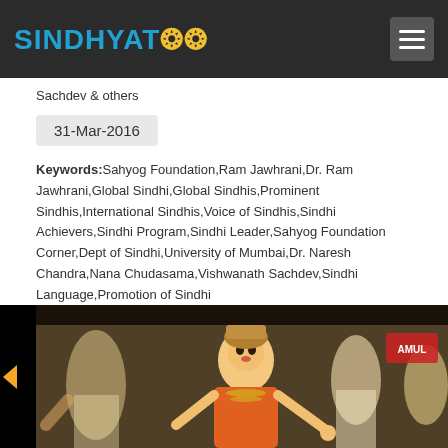SINDHYAT
Sachdev & others
31-Mar-2016
Keywords:Sahyog Foundation,Ram Jawhrani,Dr. Ram Jawhrani,Global Sindhi,Global Sindhis,Prominent Sindhis,International Sindhis,Voice of Sindhis,Sindhi Achievers,Sindhi Program,Sindhi Leader,Sahyog Foundation Corner,Dept of Sindhi,University of Mumbai,Dr. Naresh Chandra,Nana Chudasama,Vishwanath Sachdev,Sindhi Language,Promotion of Sindhi
[Figure (photo): Classical Indian dancers performing on stage; a woman in orange costume with gold jewelry is centered, flanked by male and female performers in traditional attire.]